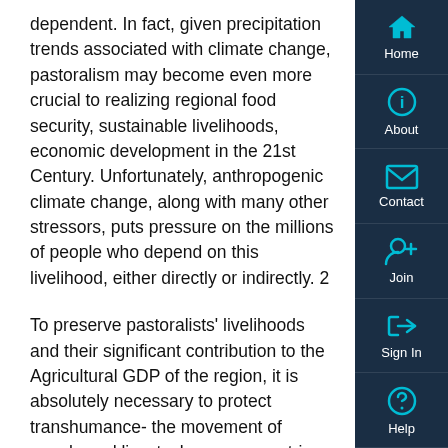dependent. In fact, given precipitation trends associated with climate change, pastoralism may become even more crucial to realizing regional food security, sustainable livelihoods, economic development in the 21st Century. Unfortunately, anthropogenic climate change, along with many other stressors, puts pressure on the millions of people who depend on this livelihood, either directly or indirectly. 2
To preserve pastoralists' livelihoods and their significant contribution to the Agricultural GDP of the region, it is absolutely necessary to protect transhumance- the movement of people and livestock across countries, to access water and pasture. The first objective of IGAD's 'Protocol on Transhumance', adopted by its Council of Ministers in 2021, prioritizes pastoral mobility by; 'Allowing free, safe and cross-border mobility of transhumant livestock and herders in search of pasture and water as an adaptation mechanism to climate change and weather variability within the IGAD region. The IGAD Centre for Pastoral Areas and Livestock Development (ICPALD) together with IOM, will launch th...
[Figure (other): Vertical navigation bar with icons and labels: Home (house icon), About (info icon), Contact (envelope icon), Join (person-plus icon), Sign In (arrow-right-bracket icon), Help (question mark icon)]